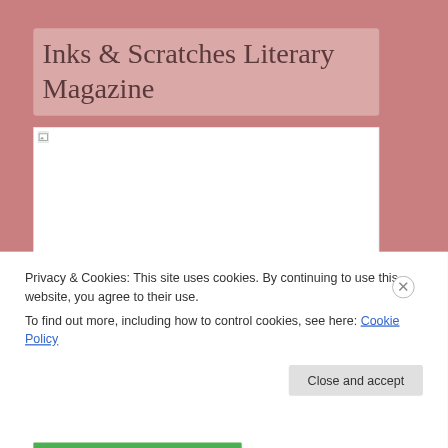Inks & Scratches Literary Magazine
[Figure (photo): Broken image placeholder (white rectangle with small broken image icon in top-left corner)]
Privacy & Cookies: This site uses cookies. By continuing to use this website, you agree to their use.
To find out more, including how to control cookies, see here: Cookie Policy
Close and accept